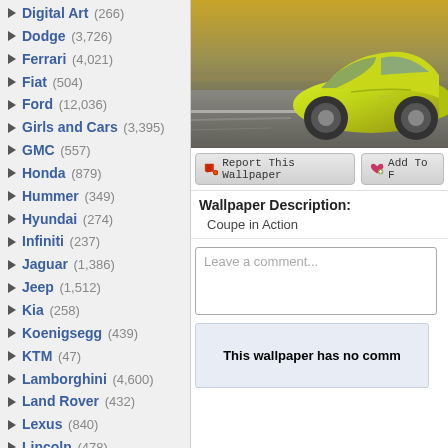Digital Art (266)
Dodge (3,726)
Ferrari (4,021)
Fiat (504)
Ford (12,036)
Girls and Cars (3,395)
GMC (557)
Honda (879)
Hummer (349)
Hyundai (274)
Infiniti (237)
Jaguar (1,386)
Jeep (1,512)
Kia (258)
Koenigsegg (439)
KTM (47)
Lamborghini (4,600)
Land Rover (432)
Lexus (840)
Lincoln (478)
Lotus (495)
Maserati (373)
Mazda (552)
McLaren (755)
Mercedes (2,964)
Mini Cooper (332)
Mitsubishi (517)
Motorcycles (Link)
Nissan (1,497)
Oldsmobile (492)
[Figure (photo): Yellow/green coupe car in motion on a road, side view, blurred background suggesting speed]
Report This Wallpaper
Add To F
Wallpaper Description:
Coupe in Action
Leave a comment...
This wallpaper has no comm